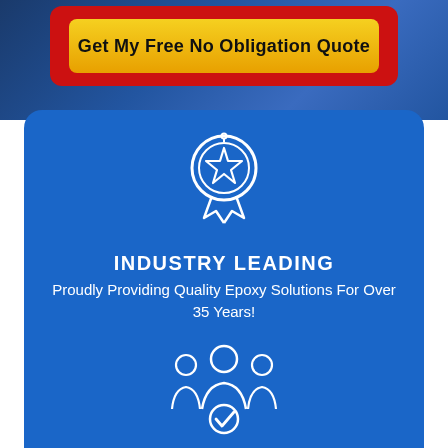Get My Free No Obligation Quote
[Figure (illustration): Award medal icon with star and ribbon, white outline on blue background]
INDUSTRY LEADING
Proudly Providing Quality Epoxy Solutions For Over 35 Years!
[Figure (illustration): Team of three people with a checkmark badge icon, white outline on blue background]
WE EXCEED EXPECTATIONS
Our staff are experts and passionate about their work